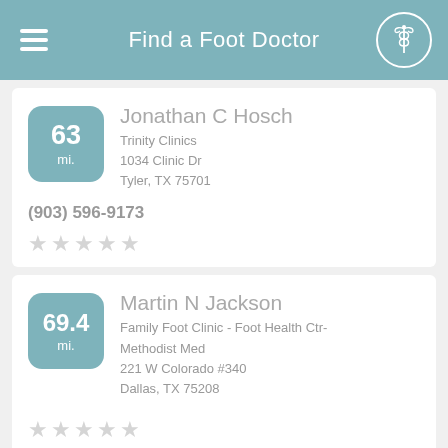Find a Foot Doctor
63 mi. — Jonathan C Hosch, Trinity Clinics, 1034 Clinic Dr, Tyler, TX 75701, (903) 596-9173
69.4 mi. — Martin N Jackson, Family Foot Clinic - Foot Health Ctr-Methodist Med, 221 W Colorado #340, Dallas, TX 75208